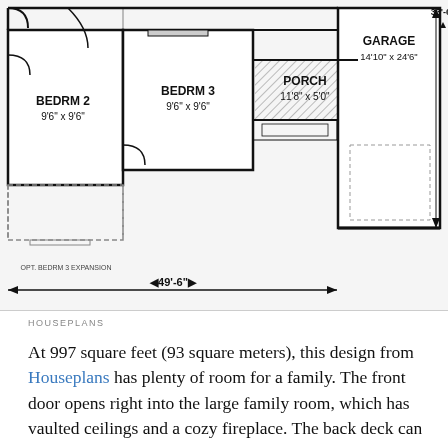[Figure (engineering-diagram): Floor plan diagram showing BEDRM 2 (9'6" x 9'6"), BEDRM 3 (9'6" x 9'6"), PORCH (11'8" x 5'0"), GARAGE (14'10" x 24'6"), OPT. BEDRM 3 EXPANSION label, dimension arrows showing 49'-6" width and 33'-6" height]
HOUSEPLANS
At 997 square feet (93 square meters), this design from Houseplans has plenty of room for a family. The front door opens right into the large family room, which has vaulted ceilings and a cozy fireplace. The back deck can be accessed via a door right next to the fireplace. On the right, you must walk through the dining area to access the small but efficient kitchen. It is possible to enter the garage from here, and this is where the laundry machines can be found. Three bedrooms and two bathrooms can be found off to the left; the master suite has its own